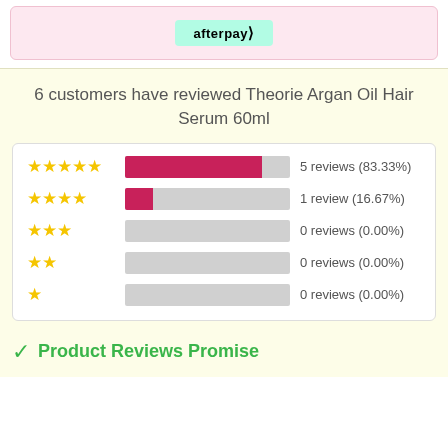[Figure (other): Afterpay button on pink background banner]
6 customers have reviewed Theorie Argan Oil Hair Serum 60ml
[Figure (bar-chart): Rating distribution]
Product Reviews Promise